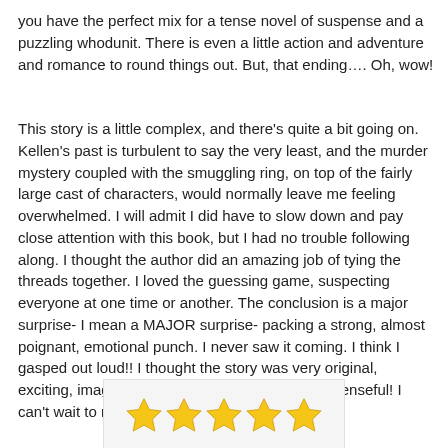you have the perfect mix for a tense novel of suspense and a puzzling whodunit. There is even a little action and adventure and romance to round things out. But, that ending…. Oh, wow!
This story is a little complex, and there's quite a bit going on. Kellen's past is turbulent to say the very least, and the murder mystery coupled with the smuggling ring, on top of the fairly large cast of characters, would normally leave me feeling overwhelmed. I will admit I did have to slow down and pay close attention with this book, but I had no trouble following along. I thought the author did an amazing job of tying the threads together. I loved the guessing game, suspecting everyone at one time or another. The conclusion is a major surprise- I mean a MAJOR surprise- packing a strong, almost poignant, emotional punch. I never saw it coming. I think I gasped out loud!! I thought the story was very original, exciting, imaginative, deeply absorbing and suspenseful! I can't wait to read the next book in series!!
[Figure (other): Five gold star rating icons displayed in a row inside a light grey bordered box]